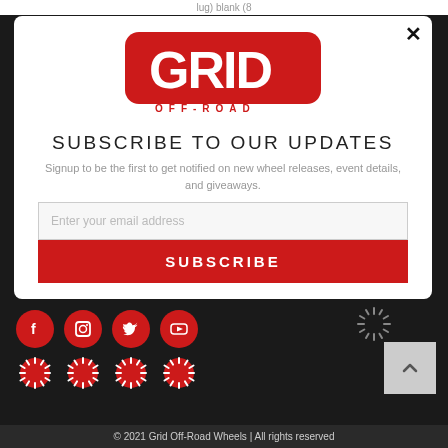lug) blank (8
[Figure (logo): Grid Off-Road logo - red rectangular badge with GRID text and OFF-ROAD beneath]
SUBSCRIBE TO OUR UPDATES
Signup to be the first to get notified on new wheel releases, event details, and giveaways.
Enter your email address
SUBSCRIBE
[Figure (infographic): Social media icons (Facebook, Instagram, Twitter, YouTube) as red circles with white icons, loading spinners below them, and a scroll-up button]
© 2021 Grid Off-Road Wheels | All rights reserved